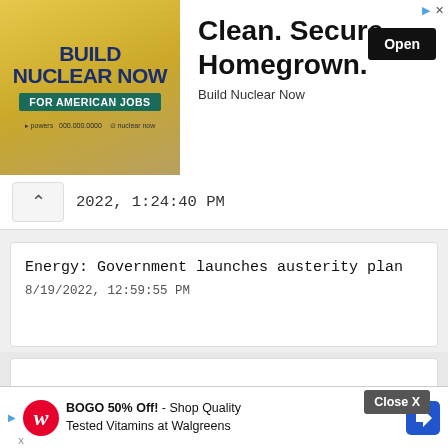[Figure (screenshot): Advertisement banner: BUILD NUCLEAR NOW FOR AMERICAN JOBS. Clean. Secure. Homegrown. Build Nuclear Now. Open button.]
2022, 1:24:40 PM
Energy: Government launches austerity plan
8/19/2022, 12:59:55 PM
China: should the economic slowdown of the world's second power cause concern?
8/19/2022, 12:18:25 PM
'Sake viva!', Japan's campaign to promote alcohol among young people and collect more
8/19/2...
[Figure (screenshot): Walgreens advertisement: BOGO 50% Off! - Shop Quality Tested Vitamins at Walgreens. Close X button overlay.]